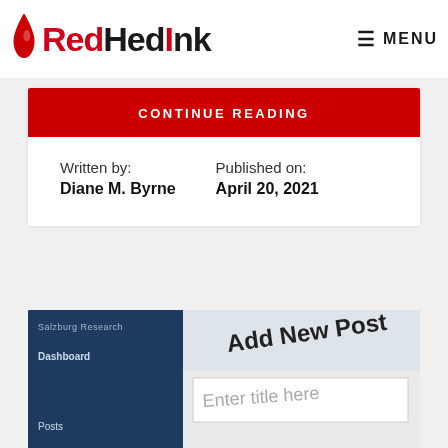RedHedInk — MENU
CONTINUE READING
Written by: Diane M. Byrne
Published on: April 20, 2021
[Figure (screenshot): Screenshot of a WordPress 'Add New Post' editor interface showing 'Enter title here' field, with Dashboard and Posts labels visible on the left sidebar.]